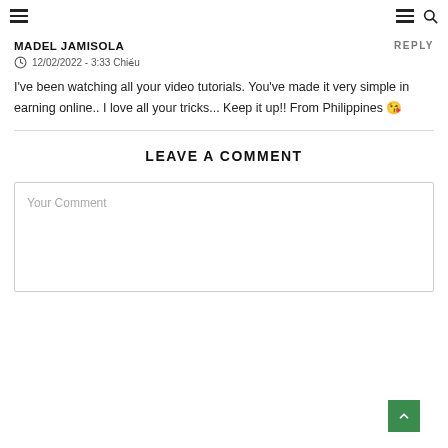Navigation header with hamburger menu icons and search
MADEL JAMISOLA
12/02/2022 - 3:33 Chiều
I've been watching all your video tutorials. You've made it very simple in earning online.. I love all your tricks... Keep it up!! From Philippines 😘
LEAVE A COMMENT
Your Comment